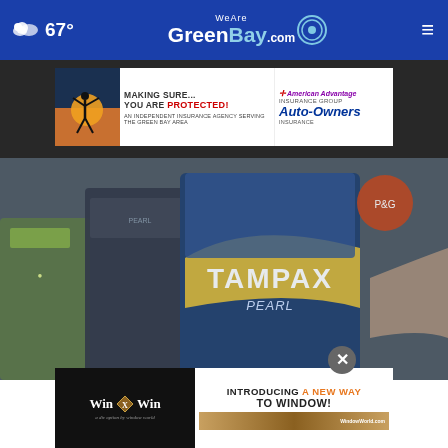WeAreGreenBay.com — 67°
[Figure (screenshot): Advertisement banner: Making Sure... You Are PROTECTED! American Advantage Insurance Group / Auto-Owners Insurance. An independent insurance agency serving the Green Bay area.]
[Figure (photo): Close-up photo of Tampax Pearl tampon boxes being held, with multiple dark blue/yellow boxes visible.]
[Figure (screenshot): Advertisement banner: Win X Win - Introducing A NEW WAY TO WINDOW!]